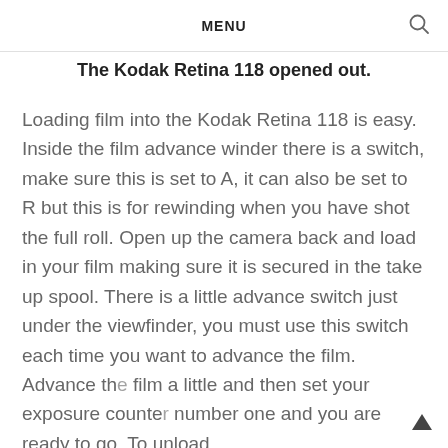MENU
The Kodak Retina 118 opened out.
Loading film into the Kodak Retina 118 is easy. Inside the film advance winder there is a switch, make sure this is set to A, it can also be set to R but this is for rewinding when you have shot the full roll. Open up the camera back and load in your film making sure it is secured in the take up spool. There is a little advance switch just under the viewfinder, you must use this switch each time you want to advance the film. Advance the film a little and then set your exposure counter number one and you are ready to go. To unload